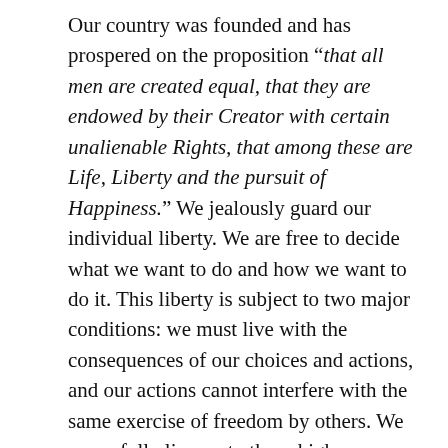Our country was founded and has prospered on the proposition “that all men are created equal, that they are endowed by their Creator with certain unalienable Rights, that among these are Life, Liberty and the pursuit of Happiness.” We jealously guard our individual liberty. We are free to decide what we want to do and how we want to do it. This liberty is subject to two major conditions: we must live with the consequences of our choices and actions, and our actions cannot interfere with the same exercise of freedom by others. We never fully live up to these high principles, but they do define the goals we continue to and should continue to aim for.